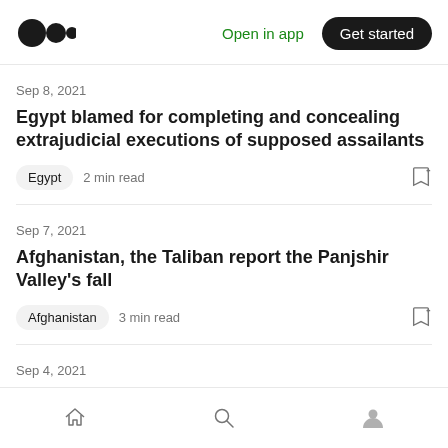Medium app navigation bar with logo, Open in app link, and Get started button
Sep 8, 2021
Egypt blamed for completing and concealing extrajudicial executions of supposed assailants
Egypt · 2 min read
Sep 7, 2021
Afghanistan, the Taliban report the Panjshir Valley's fall
Afghanistan · 3 min read
Sep 4, 2021
Bottom navigation: Home, Search, Profile